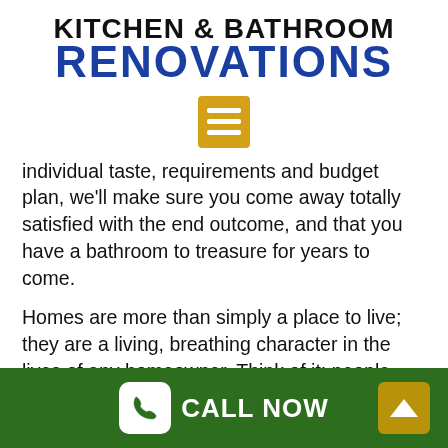KITCHEN & BATHROOM RENOVATIONS
[Figure (infographic): Yellow/gold square menu icon with three horizontal white bars]
individual taste, requirements and budget plan, we'll make sure you come away totally satisfied with the end outcome, and that you have a bathroom to treasure for years to come.
Homes are more than simply a place to live; they are a living, breathing character in the lives of any homeowner. Think of it: people buy a home and state, “I wish to make this my own.” Homes take on a personality of the people in it and a reflection of the lives inside.
CALL NOW